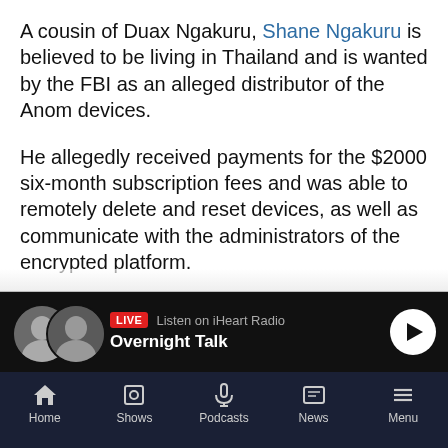A cousin of Duax Ngakuru, Shane Ngakuru is believed to be living in Thailand and is wanted by the FBI as an alleged distributor of the Anom devices.
He allegedly received payments for the $2000 six-month subscription fees and was able to remotely delete and reset devices, as well as communicate with the administrators of the encrypted platform.
Anom was marketed as "designed by criminals for criminals" with , according to the FBI, the purpose of facilitating global drug trafficking and money laundering without being detected by law enforcement.
[Figure (screenshot): iHeart Radio live bar showing two hosts avatars, LIVE badge, Listen on iHeart Radio text, Overnight Talk show title, and play button]
Home | Shows | Podcasts | News | Menu